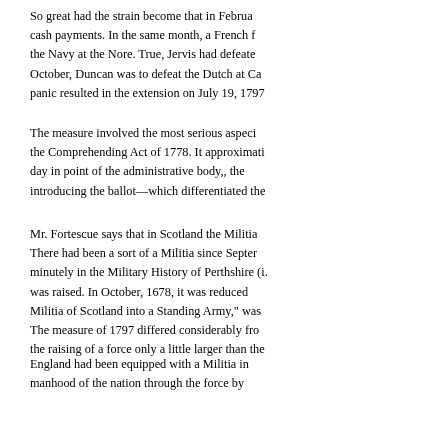So great had the strain become that in February, 1797, the Bank suspended cash payments. In the same month, a French force landed in Wales, and there was mutiny in the Navy at the Nore. True, Jervis had defeated the Spanish at Cape St. Vincent, and in October, Duncan was to defeat the Dutch at Camperdown, but panic was great, and the panic resulted in the extension on July 19, 1797.
The measure involved the most serious aspects of what had been contained in the Comprehending Act of 1778. It approximated to the Scottish Militia Act then in day in point of the administrative body,, the method of raising the men, and introducing the ballot—which differentiated the
Mr. Fortescue says that in Scotland the Militia Acts were never carried into effect. There had been a sort of a Militia since September, 1666, as is described very minutely in the Military History of Perthshire (i. 45-47), where a force of 20,000 men was raised. In October, 1678, it was reduced. The Act "for regulating the standing Militia of Scotland into a Standing Army," was passed in 1802. The measure of 1797 differed considerably from the English measures: it provides for the raising of a force only a little larger than the
England had been equipped with a Militia in 1757, which passed upon the manhood of the nation through the force by ballot; but the Act was not always enforced and lost much of its value. Attempts were made to extend it to Scotland in 1776, 1782 (when the Marquis of Graham's bill passed the Commons), and in 1793, because the spectre of Jacobitism had not been laid were among the most powerful reasons. So forty years were allowed to elapse, and the Act was not passed except under the intense pressure of the country's diffi
The Act (consisting of 56 sections) fixed the quota for each county. Generally its administration was entrusted to the Lords Li